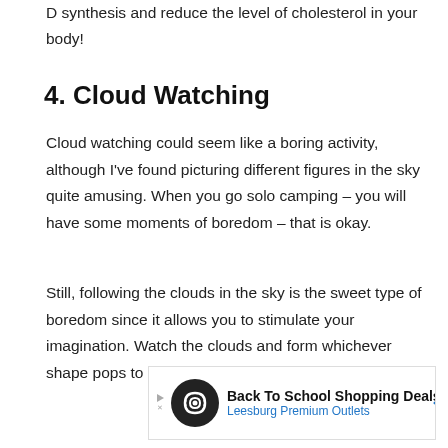D synthesis and reduce the level of cholesterol in your body!
4.  Cloud Watching
Cloud watching could seem like a boring activity, although I've found picturing different figures in the sky quite amusing. When you go solo camping – you will have some moments of boredom – that is okay.
Still, following the clouds in the sky is the sweet type of boredom since it allows you to stimulate your imagination. Watch the clouds and form whichever shape pops to mind.
[Figure (other): Advertisement banner for Back To School Shopping Deals at Leesburg Premium Outlets, with a circular logo and blue diamond arrow icon.]